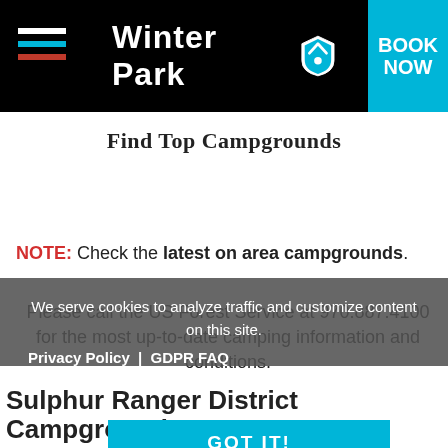Winter Park — BOOK NOW
Find Top Campgrounds
NOTE: Check the latest on area campgrounds. Please call the US Forest Service at 970.887.4100 for the most up-to-date camping information and conditions.
We serve cookies to analyze traffic and customize content on this site. Privacy Policy | GDPR FAQ
Sulphur Ranger District Campgrounds
GOT IT!
There are many campgrounds to choose from in the Winter Park, Fraser, Granby, and Grand Lake